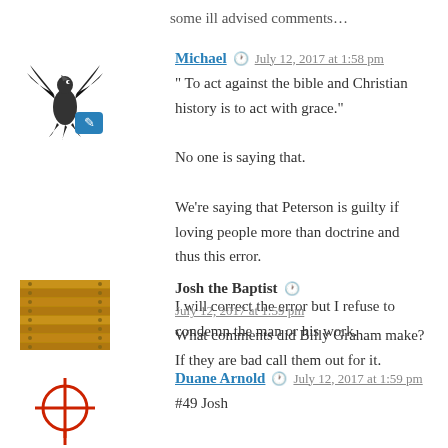some ill advised comments…
Michael · July 12, 2017 at 1:58 pm
" To act against the bible and Christian history is to act with grace."
No one is saying that.
We're saying that Peterson is guilty if loving people more than doctrine and thus this error.
I will correct the error but I refuse to condemn the man or his work.
Josh the Baptist · July 12, 2017 at 1:59 pm
What comments did Billy Graham make? If they are bad call them out for it.
Duane Arnold · July 12, 2017 at 1:59 pm
#49 Josh
I think his conclusions are wrong. I believe that I made that